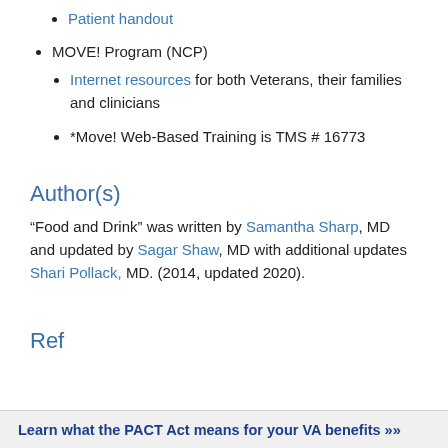Patient handout
MOVE! Program (NCP)
Internet resources for both Veterans, their families and clinicians
*Move! Web-Based Training is TMS # 16773
Author(s)
“Food and Drink” was written by Samantha Sharp, MD and updated by Sagar Shaw, MD with additional updates Shari Pollack, MD. (2014, updated 2020).
Ref
Learn what the PACT Act means for your VA benefits »